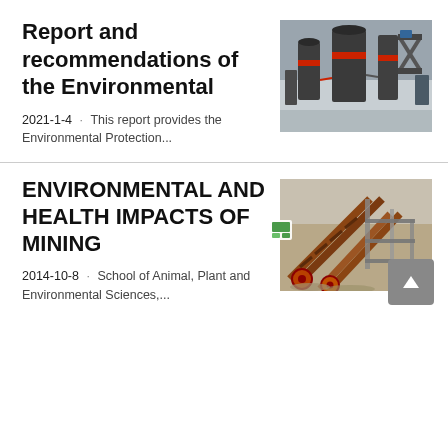Report and recommendations of the Environmental
[Figure (photo): Industrial mining/grinding machinery equipment in a facility, dark metal equipment with red accents]
2021-1-4 · This report provides the Environmental Protection...
ENVIRONMENTAL AND HEALTH IMPACTS OF MINING
[Figure (photo): Mining site with conveyor belts and orange/rusty industrial equipment and structures]
2014-10-8 · School of Animal, Plant and Environmental Sciences,...